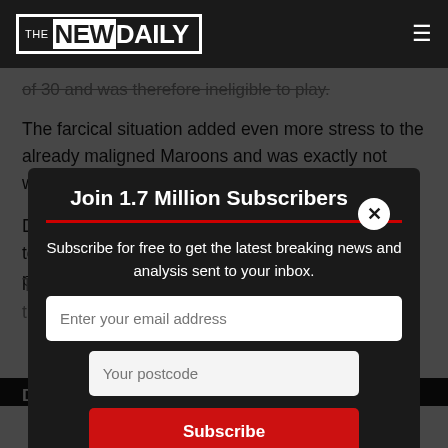THE NEW DAILY
of 30 and was therefore ineligible to play.
The farcical situation added even more stress to the already maligned Maroons and was exactly not what Paul Green's men needed.
Despite the derailed preparation, it was a solid start to the contest by Queensland as it built early pressure in NSW's half.
The Maroons looked dangerous on the left side of the Blues' defence.
[Figure (screenshot): Subscription popup modal with title 'Join 1.7 Million Subscribers', a red divider line, subtitle 'Subscribe for free to get the latest breaking news and analysis sent to your inbox.', email input field, postcode input, and red Subscribe button. Dark overlay covers page content behind modal.]
DATTIT!!!